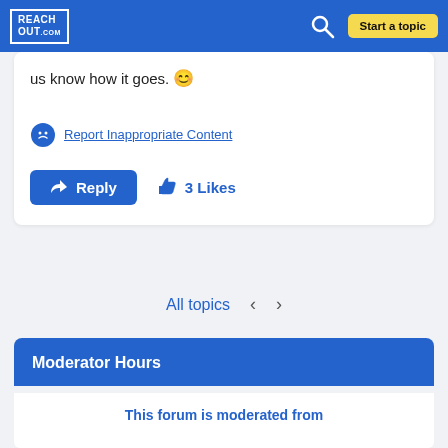REACHOUT.com — Start a topic
us know how it goes. 🙂
Report Inappropriate Content
Reply   3 Likes
All topics  <  >
Moderator Hours
This forum is moderated from